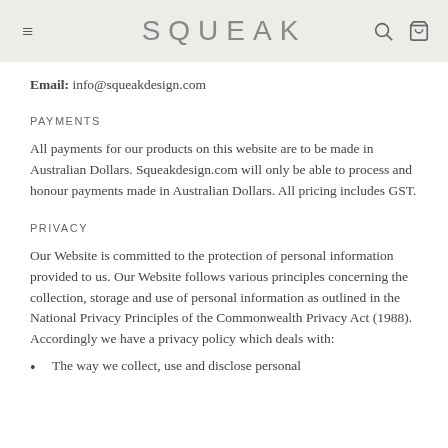SQUEAK
Email: info@squeakdesign.com
PAYMENTS
All payments for our products on this website are to be made in Australian Dollars. Squeakdesign.com will only be able to process and honour payments made in Australian Dollars. All pricing includes GST.
PRIVACY
Our Website is committed to the protection of personal information provided to us. Our Website follows various principles concerning the collection, storage and use of personal information as outlined in the National Privacy Principles of the Commonwealth Privacy Act (1988). Accordingly we have a privacy policy which deals with:
The way we collect, use and disclose personal